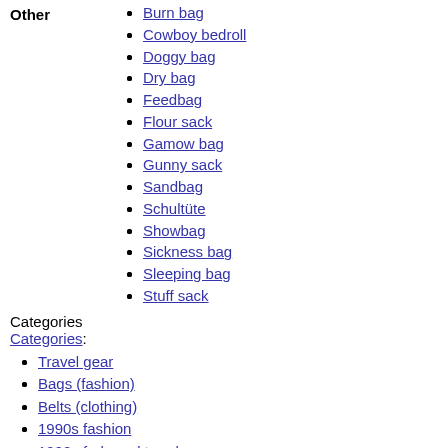Burn bag
Cowboy bedroll
Doggy bag
Dry bag
Feedbag
Flour sack
Gamow bag
Gunny sack
Sandbag
Schultüte
Showbag
Sickness bag
Sleeping bag
Stuff sack
Categories
Categories:
Travel gear
Bags (fashion)
Belts (clothing)
1990s fashion
1990s fads and trends
2010s fads and trends